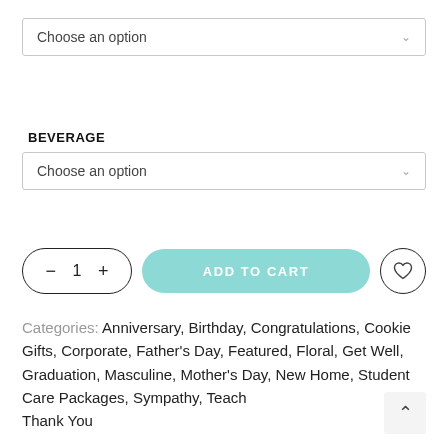Choose an option (dropdown 1)
BEVERAGE
Choose an option (dropdown 2)
− 1 + ADD TO CART ♡
Categories: Anniversary, Birthday, Congratulations, Cookie Gifts, Corporate, Father's Day, Featured, Floral, Get Well, Graduation, Masculine, Mother's Day, New Home, Student Care Packages, Sympathy, Teacher, Thank You